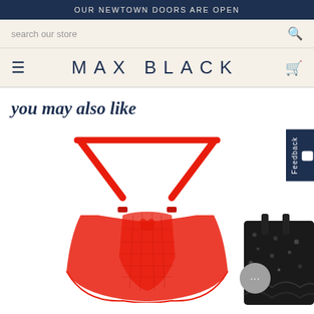OUR NEWTOWN DOORS ARE OPEN
search our store
MAX BLACK
you may also like
[Figure (photo): Red mesh high-waist lingerie briefs with strappy triangle top harness detail, shown as a product flat-lay on white background]
[Figure (photo): Black lace and sequin lingerie partially visible on the right side of the page]